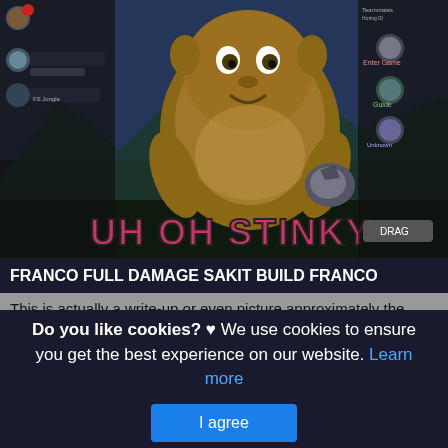[Figure (screenshot): Mobile Legends game screenshot showing a large creature character with text 'UH OH STINKY' in pink/red letters overlaid. Game UI elements visible including player stats and character icons on sides.]
FRANCO FULL DAMAGE SAKIT BUILD FRANCO
This is actually a write-up or even picture approximately the FRANCO FULL DAMAGE SAKIT BUILD FRANCO TERSAKIT 2022 MOBILE, if you wish even more details around the short post or even picture feel free to hit or even explore the adhering to web link or even web link .
(Read More)
Source: www.bilibili.tv Visit Web
Do you like cookies? ♥ We use cookies to ensure you get the best experience on our website. Learn more
I agree